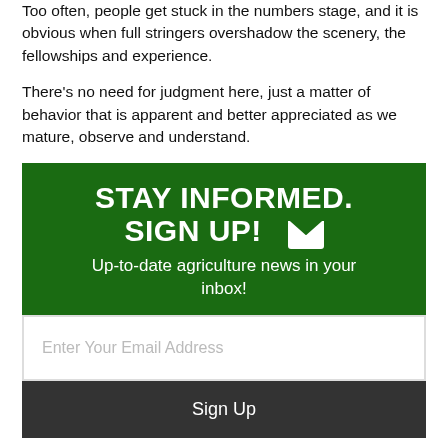Too often, people get stuck in the numbers stage, and it is obvious when full stringers overshadow the scenery, the fellowships and experience.
There's no need for judgment here, just a matter of behavior that is apparent and better appreciated as we mature, observe and understand.
[Figure (infographic): Dark green sign-up call-to-action box with text 'STAY INFORMED. SIGN UP!' with envelope icon, subtitle 'Up-to-date agriculture news in your inbox!', an email input field, and a dark Sign Up button.]